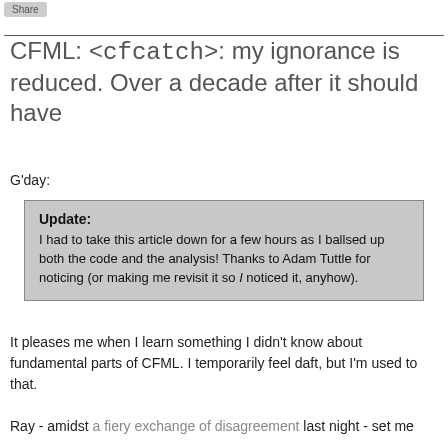Share
CFML: <cfcatch>: my ignorance is reduced. Over a decade after it should have
G'day:
Update:
I had to take this article down for a few hours as I ballsed up both the code and the analysis! Thanks to Adam Tuttle for noticing (or making me revisit it so I noticed it, anyhow).
It pleases me when I learn something I didn't know about fundamental parts of CFML. I temporarily feel daft, but I'm used to that.
Ray - amidst a fiery exchange of disagreement last night - set me